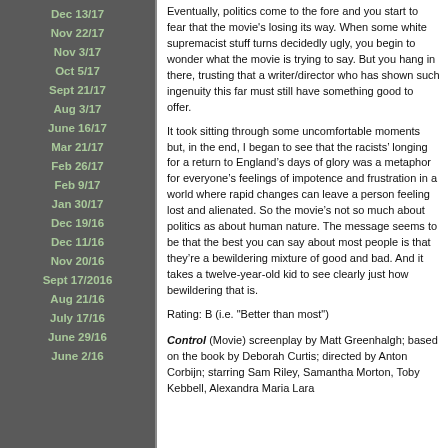Dec 13/17
Nov 22/17
Nov 3/17
Oct 5/17
Sept 21/17
Aug 3/17
June 16/17
Mar 21/17
Feb 26/17
Feb 9/17
Jan 30/17
Dec 19/16
Dec 11/16
Nov 20/16
Sept 17/2016
Aug 21/16
July 17/16
June 29/16
June 2/16
Eventually, politics come to the fore and you start to fear that the movie's losing its way. When some white supremacist stuff turns decidedly ugly, you begin to wonder what the movie is trying to say. But you hang in there, trusting that a writer/director who has shown such ingenuity this far must still have something good to offer.
It took sitting through some uncomfortable moments but, in the end, I began to see that the racists’ longing for a return to England’s days of glory was a metaphor for everyone’s feelings of impotence and frustration in a world where rapid changes can leave a person feeling lost and alienated. So the movie’s not so much about politics as about human nature. The message seems to be that the best you can say about most people is that they’re a bewildering mixture of good and bad. And it takes a twelve-year-old kid to see clearly just how bewildering that is.
Rating: B (i.e. "Better than most")
Control (Movie) screenplay by Matt Greenhalgh; based on the book by Deborah Curtis; directed by Anton Corbijn; starring Sam Riley, Samantha Morton, Toby Kebbell, Alexandra Maria Lara